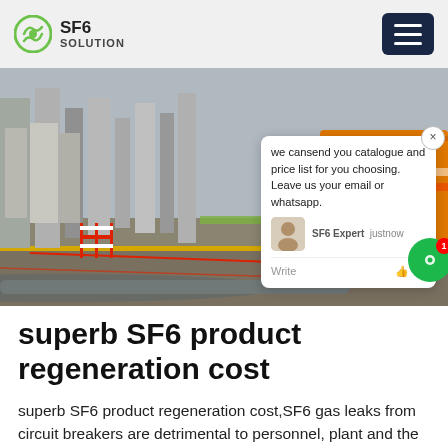SF6 SOLUTION
[Figure (photo): Outdoor electrical substation with SF6 equipment, orange service vehicle with text TRAW 0725, red and white safety barriers. A chat popup overlay reads: 'we can send you catalogue and price list for you choosing. Leave us your email or whatsapp.' with SF6 Expert label showing 'just now'.]
superb SF6 product regeneration cost
superb SF6 product regeneration cost,SF6 gas leaks from circuit breakers are detrimental to personnel, plant and the environment; so failure to